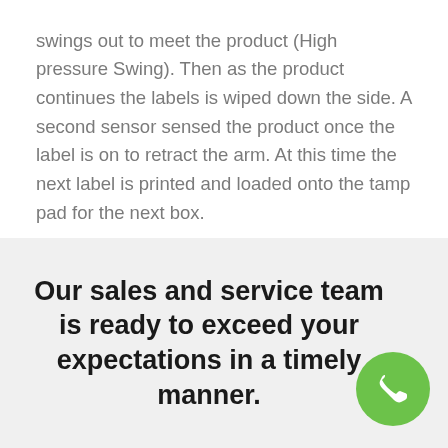swings out to meet the product (High pressure Swing). Then as the product continues the labels is wiped down the side. A second sensor sensed the product once the label is on to retract the arm. At this time the next label is printed and loaded onto the tamp pad for the next box.
Our sales and service team is ready to exceed your expectations in a timely manner.